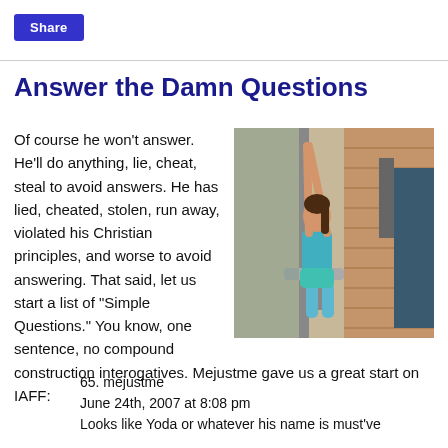Share
Answer the Damn Questions
Of course he won't answer. He'll do anything, lie, cheat, steal to avoid answers. He has lied, cheated, stolen, run away, violated his Christian principles, and worse to avoid answering. That said, let us start a list of "Simple Questions." You know, one sentence, no compound construction interogatives. Mejustme gave us a great start on IAFF:
[Figure (photo): Woman in teal athletic outfit using a cable pull-down machine in a gym with brick wall background]
65. mejustme
June 24th, 2007 at 8:08 pm
Looks like Yoda or whatever his name is must've